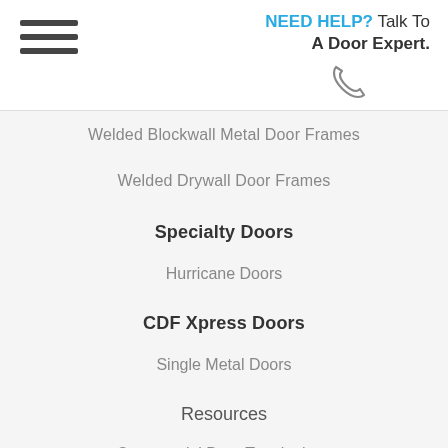NEED HELP? Talk To A Door Expert.
Welded Blockwall Metal Door Frames
Welded Drywall Door Frames
Specialty Doors
Hurricane Doors
CDF Xpress Doors
Single Metal Doors
Resources
Commercial Door Terminology